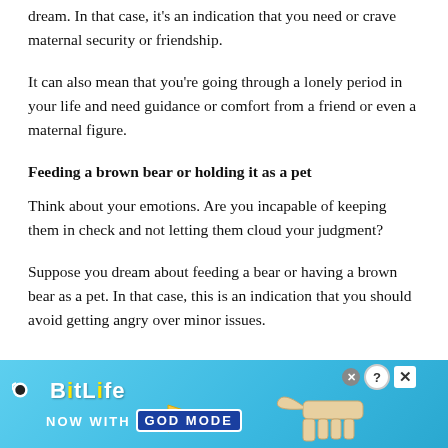dream. In that case, it's an indication that you need or crave maternal security or friendship.
It can also mean that you're going through a lonely period in your life and need guidance or comfort from a friend or even a maternal figure.
Feeding a brown bear or holding it as a pet
Think about your emotions. Are you incapable of keeping them in check and not letting them cloud your judgment?
Suppose you dream about feeding a bear or having a brown bear as a pet. In that case, this is an indication that you should avoid getting angry over minor issues.
[Figure (screenshot): BitLife advertisement banner: 'BitLife NOW WITH GOD MODE' on a blue gradient background with hand/finger pointing graphics and close/question buttons.]